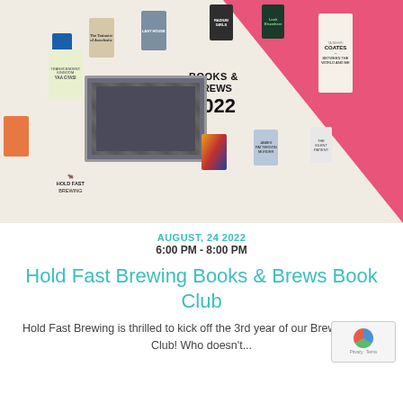[Figure (photo): Books & Brews 2022 promotional image showing various book covers arranged decoratively with a group photo of book club members in the center, on a pink and cream background with Hold Fast Brewing logo]
AUGUST, 24 2022
6:00 PM - 8:00 PM
Hold Fast Brewing Books & Brews Book Club
Hold Fast Brewing is thrilled to kick off the 3rd year of our Brewery Book Club! Who doesn't...